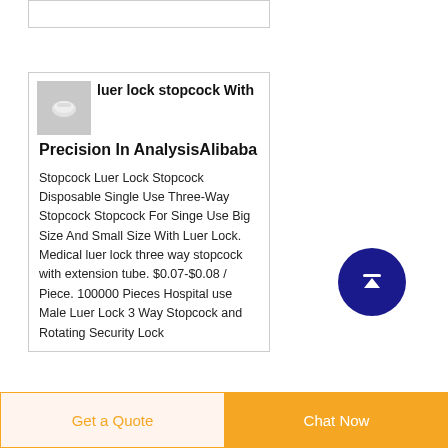[Figure (screenshot): Top partial card element, appears to be the bottom edge of a product card]
luer lock stopcock With Precision In AnalysisAlibaba
Stopcock Luer Lock Stopcock Disposable Single Use Three-Way Stopcock Stopcock For Singe Use Big Size And Small Size With Luer Lock. Medical luer lock three way stopcock with extension tube. $0.07-$0.08 / Piece. 100000 Pieces Hospital use Male Luer Lock 3 Way Stopcock and Rotating Security Lock
[Figure (illustration): Scroll-to-top circular button with upward arrow, dark blue background]
Get a Quote
Chat Now